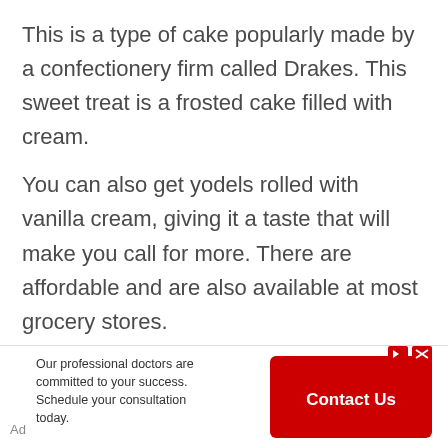This is a type of cake popularly made by a confectionery firm called Drakes. This sweet treat is a frosted cake filled with cream.
You can also get yodels rolled with vanilla cream, giving it a taste that will make you call for more. There are affordable and are also available at most grocery stores.
8. Yabby
[Figure (infographic): Advertisement banner: text reading 'Our professional doctors are committed to your success. Schedule your consultation today.' with a red 'Contact Us' button on the right and 'Ad' label on the left.]